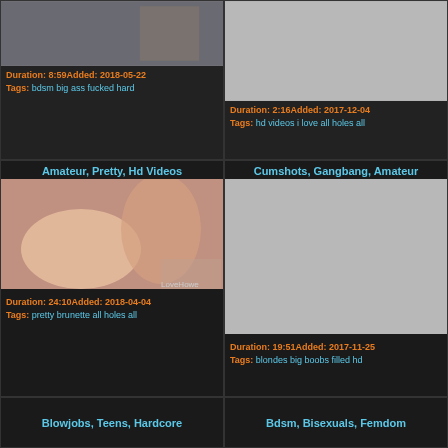[Figure (photo): Video thumbnail showing two people]
Duration: 8:59Added: 2018-05-22
Tags: bdsm big ass fucked hard
[Figure (photo): Gray placeholder thumbnail]
Duration: 2:16Added: 2017-12-04
Tags: hd videos i love all holes all
Amateur, Pretty, Hd Videos
Cumshots, Gangbang, Amateur
[Figure (photo): Video thumbnail showing couple on pink bedding]
Duration: 24:10Added: 2018-04-04
Tags: pretty brunette all holes all
[Figure (photo): Gray placeholder thumbnail large]
Duration: 19:51Added: 2017-11-25
Tags: blondes big boobs filled hd
Blowjobs, Teens, Hardcore
Bdsm, Bisexuals, Femdom